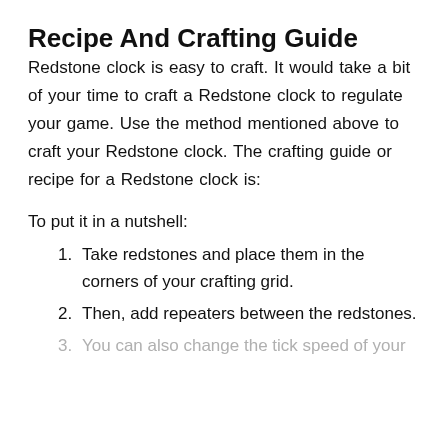Recipe And Crafting Guide
Redstone clock is easy to craft. It would take a bit of your time to craft a Redstone clock to regulate your game. Use the method mentioned above to craft your Redstone clock. The crafting guide or recipe for a Redstone clock is:
To put it in a nutshell:
Take redstones and place them in the corners of your crafting grid.
Then, add repeaters between the redstones.
You can also change the tick speed of your Redstone clock.